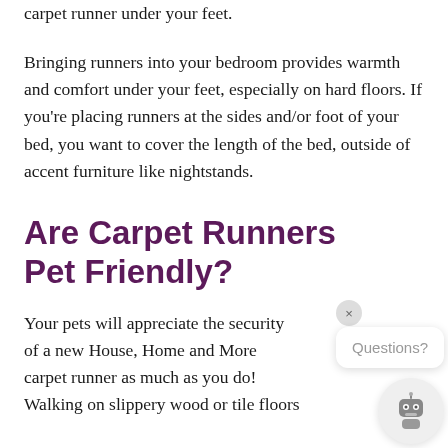carpet runner under your feet.
Bringing runners into your bedroom provides warmth and comfort under your feet, especially on hard floors. If you're placing runners at the sides and/or foot of your bed, you want to cover the length of the bed, outside of accent furniture like nightstands.
Are Carpet Runners Pet Friendly?
Your pets will appreciate the security of a new House, Home and More carpet runner as much as you do! Walking on slippery wood or tile floors
[Figure (other): Chat widget with close button (×), a speech bubble saying 'Questions?', and a robot avatar icon at bottom right of the page.]